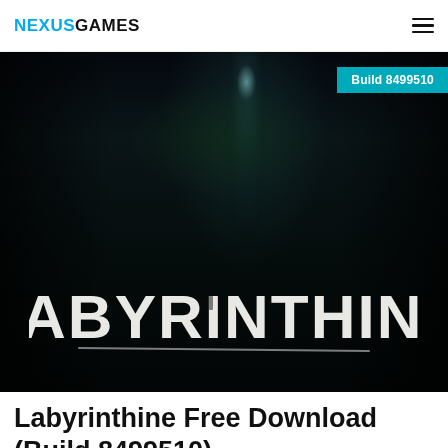NEXUSGAMES
[Figure (screenshot): Dark atmospheric horror game screenshot showing a dimly lit forest/maze scene at night with a faint glowing light source above, and the game logo 'LABYRINTHINE' in large distressed white text overlaid on the lower portion of the image. A cyan badge reading 'Build 8499510' appears in the upper right corner of the image.]
Labyrinthine Free Download (Build 8499510)